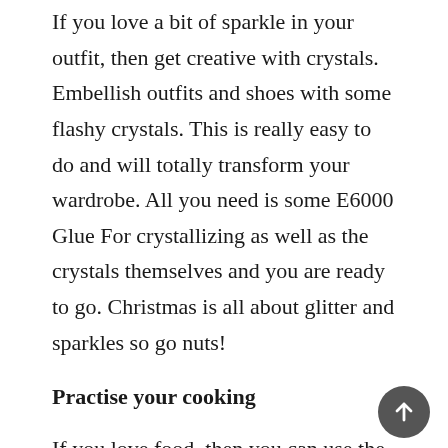If you love a bit of sparkle in your outfit, then get creative with crystals. Embellish outfits and shoes with some flashy crystals. This is really easy to do and will totally transform your wardrobe. All you need is some E6000 Glue For crystallizing as well as the crystals themselves and you are ready to go. Christmas is all about glitter and sparkles so go nuts!
Practise your cooking
If you love food, then you can use the winter to practise some new and delicious recipes. Try making both savoury and sweet dishes and see what you prefer working on. If you want to get